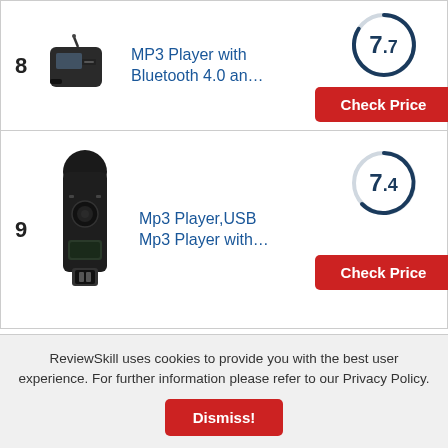8 MP3 Player with Bluetooth 4.0 an… Score: 7.7 Check Price
9 Mp3 Player,USB Mp3 Player with… Score: 7.4 Check Price
1. SanDisk Cruzer Micro Mp3 Companion
ReviewSkill uses cookies to provide you with the best user experience. For further information please refer to our Privacy Policy.
Dismiss!